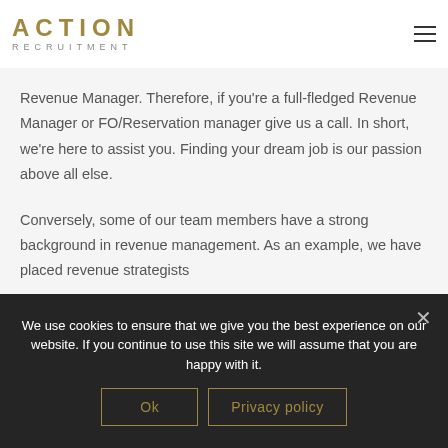ACTION RECRUITMENT
Revenue Manager. Therefore, if you're a full-fledged Revenue Manager or FO/Reservation manager give us a call. In short, we're here to assist you. Finding your dream job is our passion above all else.
Conversely, some of our team members have a strong background in revenue management. As an example, we have placed revenue strategists
We use cookies to ensure that we give you the best experience on our website. If you continue to use this site we will assume that you are happy with it.
Ok
Privacy policy